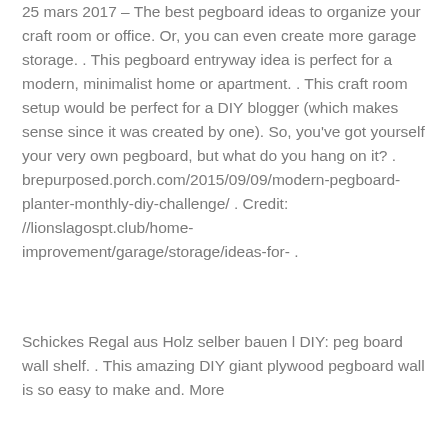25 mars 2017 – The best pegboard ideas to organize your craft room or office. Or, you can even create more garage storage. . This pegboard entryway idea is perfect for a modern, minimalist home or apartment. . This craft room setup would be perfect for a DIY blogger (which makes sense since it was created by one). So, you've got yourself your very own pegboard, but what do you hang on it? . brepurposed.porch.com/2015/09/09/modern-pegboard-planter-monthly-diy-challenge/ . Credit: //lionslagospt.club/home-improvement/garage/storage/ideas-for- .
Schickes Regal aus Holz selber bauen l DIY: peg board wall shelf. . This amazing DIY giant plywood pegboard wall is so easy to make and. More